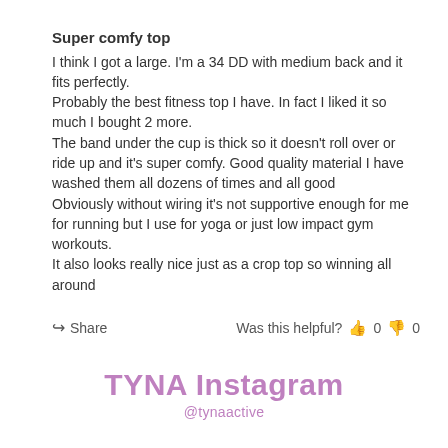Super comfy top
I think I got a large. I'm a 34 DD with medium back and it fits perfectly.
Probably the best fitness top I have. In fact I liked it so much I bought 2 more.
The band under the cup is thick so it doesn't roll over or ride up and it's super comfy. Good quality material I have washed them all dozens of times and all good
Obviously without wiring it's not supportive enough for me for running but I use for yoga or just low impact gym workouts.
It also looks really nice just as a crop top so winning all around
Share   Was this helpful?  👍 0  👎 0
TYNA Instagram
@tynaactive